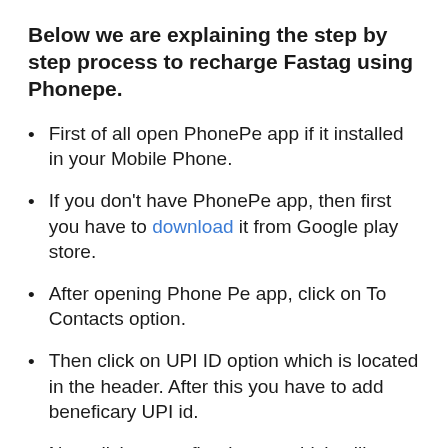Below we are explaining the step by step process to recharge Fastag using Phonepe.
First of all open PhonePe app if it installed in your Mobile Phone.
If you don't have PhonePe app, then first you have to download it from Google play store.
After opening Phone Pe app, click on To Contacts option.
Then click on UPI ID option which is located in the header. After this you have to add beneficary UPI id.
Now click on confirm button which will...